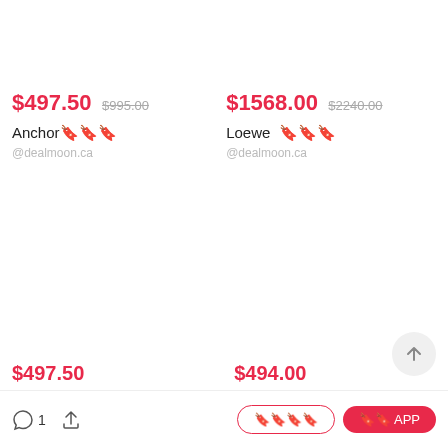$497.50 $995.00
Anchor🔖🔖🔖
@dealmoon.ca
$1568.00 $2240.00
Loewe 🔖🔖🔖
@dealmoon.ca
$497.50 (partially visible)
$494.00 (partially visible)
1
打开APP